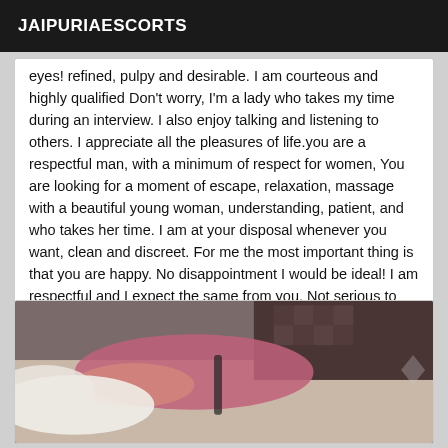JAIPURIAESCORTS
eyes! refined, pulpy and desirable. I am courteous and highly qualified Don't worry, I'm a lady who takes my time during an interview. I also enjoy talking and listening to others. I appreciate all the pleasures of life.you are a respectful man, with a minimum of respect for women, You are looking for a moment of escape, relaxation, massage with a beautiful young woman, understanding, patient, and who takes her time. I am at your disposal whenever you want, clean and discreet. For me the most important thing is that you are happy. No disappointment I would be ideal! I am respectful and I expect the same from you. Not serious to abstain, Photo very real and recent.
[Figure (photo): A woman in a pink top lying on a bed, photographed from above at an angle, in an indoor room setting.]